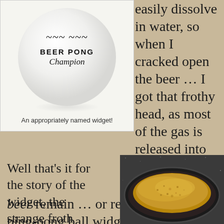[Figure (photo): White ping-pong ball with 'BEER PONG Champion' logo on it, on white background]
An appropriately named widget!
Although didn't easily dissolve in water, so when I cracked open the beer … I got that frothy head, as most of the gas is released into the air, while the foamy bubbles in the head of beer remain … or remain clothing the ping-pong ball widget in white froth.
[Figure (photo): A black cast-iron pan or bowl filled with golden-brown sandy or granular substance, photographed from above on a dark speckled surface.]
Well that's it for the story of the widget, the strange froth